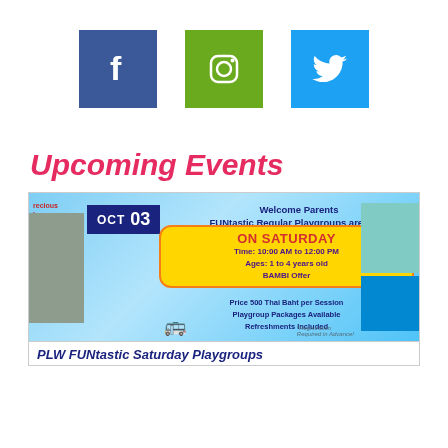[Figure (infographic): Three social media icons: Facebook (dark blue), Instagram (green), Twitter (light blue)]
Upcoming Events
[Figure (infographic): Event flyer for PLW FUNtastic Saturday Playgroups. OCT 03. Welcome Parents FUNtastic Regular Playgroups are Back. ON SATURDAY. Time: 10:00 AM to 12:00 PM. Ages: 1 to 4 years old. BAMBI Offer. Price 500 Thai Baht per Session. Playgroup Packages Available. Refreshments Included. Registration Required in Advance.]
PLW FUNtastic Saturday Playgroups